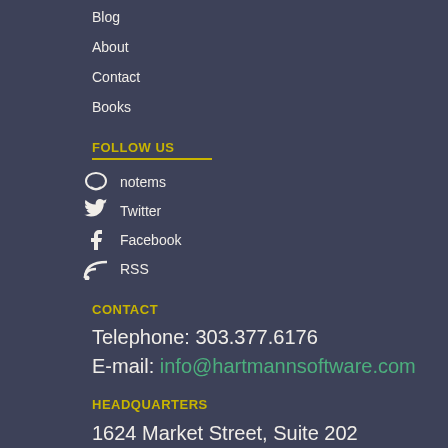Blog
About
Contact
Books
FOLLOW US
notems
Twitter
Facebook
RSS
CONTACT
Telephone: 303.377.6176
E-mail: info@hartmannsoftware.com
HEADQUARTERS
1624 Market Street, Suite 202
Denver, Colorado 80202